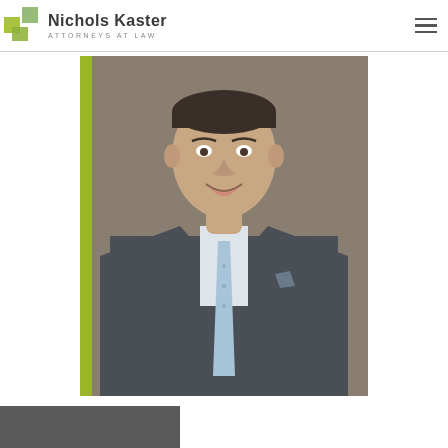Nichols Kaster ATTORNEYS AT LAW
[Figure (photo): Professional headshot of a male attorney in a dark grey suit and light blue dotted tie, smiling, against a grey-brown background. The photo is framed on the left with a yellow-green vertical accent bar.]
[Figure (photo): Partial bottom strip image, cropped at the page bottom edge.]